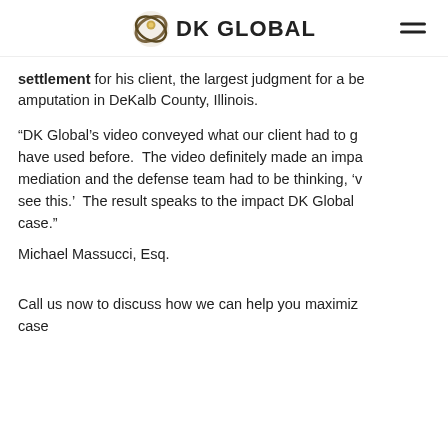DK GLOBAL
settlement for his client, the largest judgment for a be amputation in DeKalb County, Illinois.
“DK Global’s video conveyed what our client had to g have used before.  The video definitely made an impa mediation and the defense team had to be thinking, ‘v see this.’  The result speaks to the impact DK Global case.”
Michael Massucci, Esq.
Call us now to discuss how we can help you maximiz case